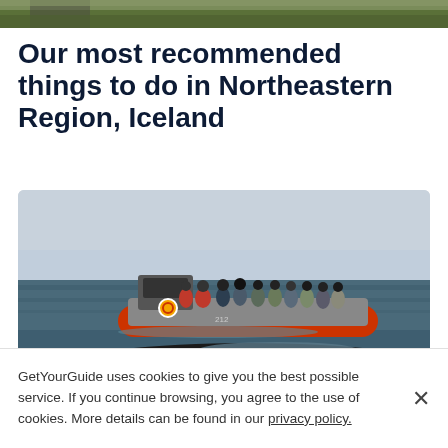[Figure (photo): Top portion of a landscape/nature photo showing grass and rocks, partially cropped at the top of the page]
Our most recommended things to do in Northeastern Region, Iceland
[Figure (photo): A group of tourists in a red inflatable speedboat (RIB) on the water in Iceland watching whale watching, with a whale surfacing in the foreground]
GetYourGuide uses cookies to give you the best possible service. If you continue browsing, you agree to the use of cookies. More details can be found in our privacy policy.